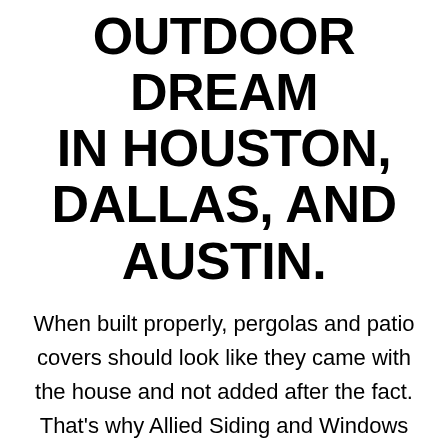OUTDOOR DREAM IN HOUSTON, DALLAS, AND AUSTIN.
When built properly, pergolas and patio covers should look like they came with the house and not added after the fact. That's why Allied Siding and Windows customizes patio covers to match the character of each home. You really will think the patio cover was built concurrently with your home. Upgrade